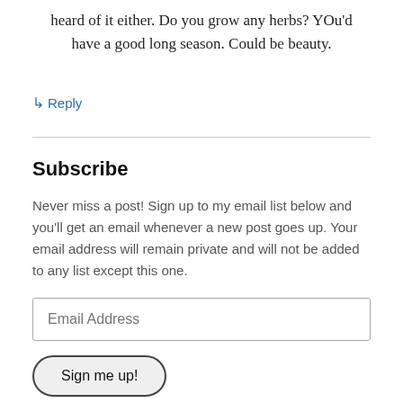heard of it either. Do you grow any herbs? YOu'd have a good long season. Could be beauty.
↳ Reply
Subscribe
Never miss a post! Sign up to my email list below and you'll get an email whenever a new post goes up. Your email address will remain private and will not be added to any list except this one.
Email Address
Sign me up!
Join 440 other followers